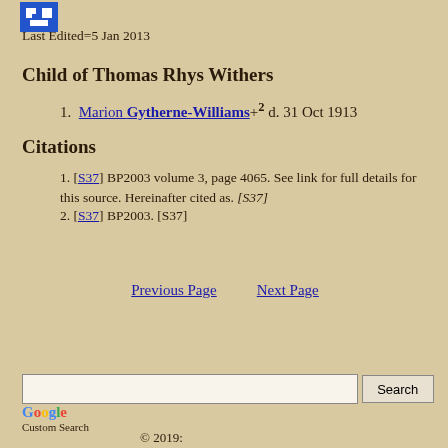[Figure (logo): Small blue pixelated icon logo in top left]
Last Edited=5 Jan 2013
Child of Thomas Rhys Withers
1. Marion Gytherne-Williams +2 d. 31 Oct 1913
Citations
1. [S37] BP2003 volume 3, page 4065. See link for full details for this source. Hereinafter cited as. [S37]
2. [S37] BP2003. [S37]
Previous Page   Next Page
[Figure (other): Search box with Search button and Google Custom Search label]
© 2019: